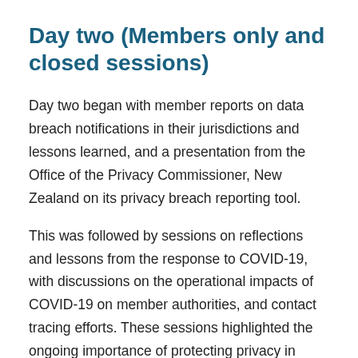Day two (Members only and closed sessions)
Day two began with member reports on data breach notifications in their jurisdictions and lessons learned, and a presentation from the Office of the Privacy Commissioner, New Zealand on its privacy breach reporting tool.
This was followed by sessions on reflections and lessons from the response to COVID-19, with discussions on the operational impacts of COVID-19 on member authorities, and contact tracing efforts. These sessions highlighted the ongoing importance of protecting privacy in